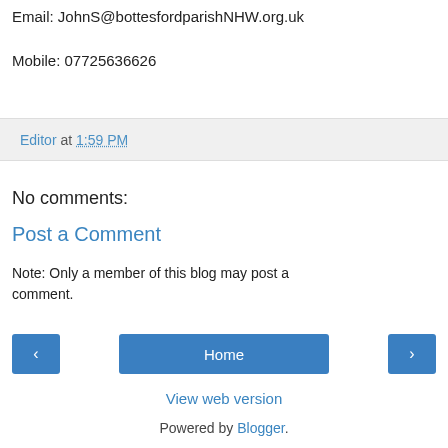Email: JohnS@bottesfordparishNHW.org.uk
Mobile: 07725636626
Editor at 1:59 PM
No comments:
Post a Comment
Note: Only a member of this blog may post a comment.
Home
View web version
Powered by Blogger.